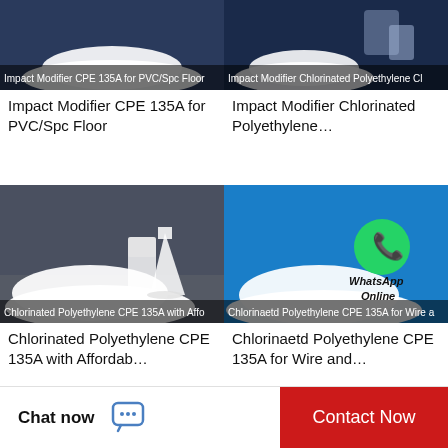[Figure (photo): Photo of white powder product labeled 'Impact Modifier CPE 135A for PVC/Spc Floor']
Impact Modifier CPE 135A for PVC/Spc Floor
[Figure (photo): Photo of white powder product labeled 'Impact Modifier Chlorinated Polyethylene Cl...']
Impact Modifier Chlorinated Polyethylene…
[Figure (photo): Photo of white powder with laboratory flasks labeled 'Chlorinated Polyethylene CPE 135A with Affo...']
Chlorinated Polyethylene CPE 135A with Affordab…
[Figure (photo): Photo of white powder on blue background with WhatsApp Online logo, labeled 'Chlorinaetd Polyethylene CPE 135A for Wire a...']
Chlorinaetd Polyethylene CPE 135A for Wire and…
Chat now
Contact Now